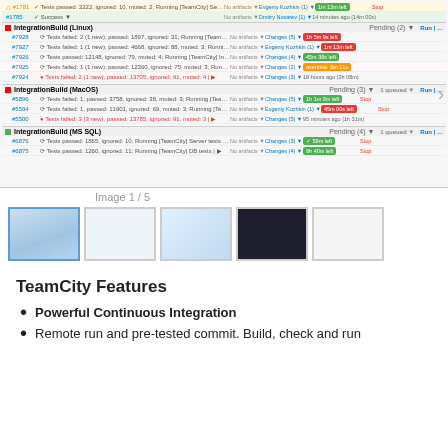[Figure (screenshot): TeamCity CI build dashboard screenshot showing IntegrationBuild groups (Linux, MacOS, MS SQL) with build statuses, running tests, time remaining badges, pending counts, Stop/Run buttons]
Image 1 / 5
[Figure (screenshot): Gallery of 5 thumbnail screenshots showing different TeamCity interface views]
TeamCity Features
Powerful Continuous Integration
Remote run and pre-tested commit. Build, check and run